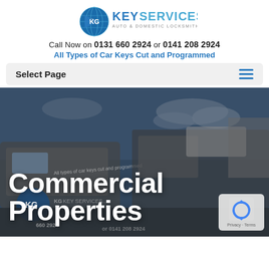[Figure (logo): KG Key Services logo - blue globe with play button icon and text 'KG KEY SERVICES AUTO & DOMESTIC LOCKSMITHS']
Call Now on 0131 660 2924 or 0141 208 2924
All Types of Car Keys Cut and Programmed
Select Page
[Figure (photo): Background photo showing KG Key Services branded van and a large commercial truck in an outdoor setting with blue sky and clouds. Text overlay reads 'Commercial Properties']
Commercial Properties